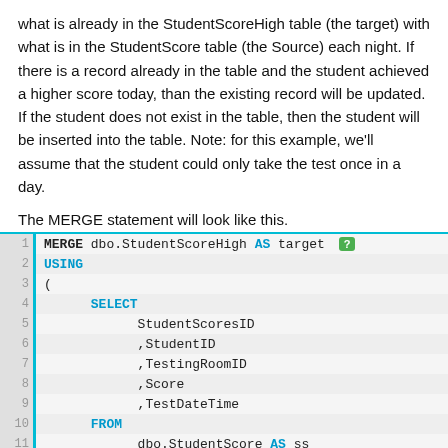what is already in the StudentScoreHigh table (the target) with what is in the StudentScore table (the Source) each night. If there is a record already in the table and the student achieved a higher score today, than the existing record will be updated. If the student does not exist in the table, then the student will be inserted into the table. Note: for this example, we'll assume that the student could only take the test once in a day.

The MERGE statement will look like this.
[Figure (screenshot): Code block showing SQL MERGE statement with line numbers 1-18. Lines show: MERGE dbo.StudentScoreHigh AS target, USING, (, SELECT, StudentScoresID, ,StudentID, ,TestingRoomID, ,Score, ,TestDateTime, FROM, dbo.StudentScore AS ss, WHERE, TestDateTime >= DATEADD(d, -1, GETDA, ) AS Source ON Target.StudentID = Source.Stude, WHEN MATCHED AND Source.Score > Target.Score T, UPDATE SET, StudentScoresID = Source.StudentScoresID, ,StudentID = Source.StudentID]